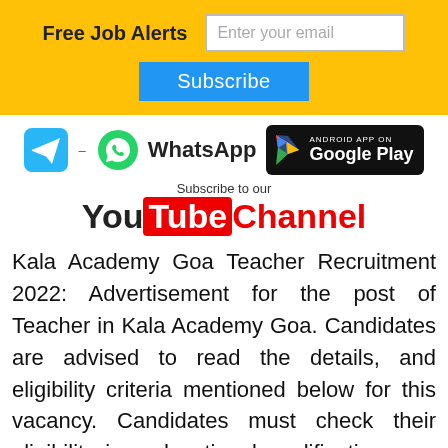Free Job Alerts — Enter your email — Subscribe
[Figure (logo): Telegram icon, WhatsApp icon with text, Google Play badge]
[Figure (logo): Subscribe to our YouTube Channel logo]
Kala Academy Goa Teacher Recruitment 2022: Advertisement for the post of Teacher in Kala Academy Goa. Candidates are advised to read the details, and eligibility criteria mentioned below for this vacancy. Candidates must check their eligibility i.e. educational qualification, age limit, experience and etc. The eligible candidates can submit their